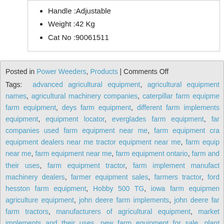Handle :Adjustable
Weight :42 Kg
Cat No :90061511
Posted in Power Weeders, Products | Comments Off
Tags: advanced agricultural equipment, agricultural equipment names, agricultural machinery companies, caterpillar farm equipment, farm equipment, deys farm equipment, different farm implements equipment, equipment locator, everglades farm equipment, farm companies used farm equipment near me, farm equipment cra equipment dealers near me tractor equipment near me, farm equip near me, farm equipment near me, farm equipment ontario, farm and their uses, farm equipment tractor, farm implement manufact machinery dealers, farmer equipment sales, farmers tractor, ford hesston farm equipment, Hobby 500 TG, iowa farm equipmen agriculture equipment, john deere farm implements, john deere far farm tractors, manufacturers of agricultural equipment, market implements and their uses, new farm equipment for sale, plant equipment, tractor attachments for agriculture, tractor dealers equipment, used farm equipment auctions, used farm equipment me, used tractor dealer near me, used tractor dealers, used trac